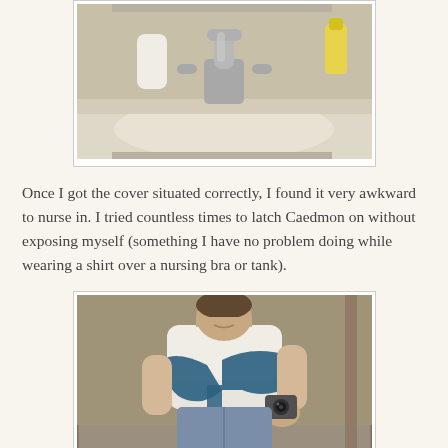[Figure (photo): Photo of a bathroom sink with chrome faucet, taken in a mirror. White/beige sink and counter visible.]
Once I got the cover situated correctly, I found it very awkward to nurse in. I tried countless times to latch Caedmon on without exposing myself (something I have no problem doing while wearing a shirt over a nursing bra or tank).
[Figure (photo): Woman in white t-shirt holding a dark teal nursing cover/sling, taking a mirror selfie in a bathroom. Blue jeans visible at bottom.]